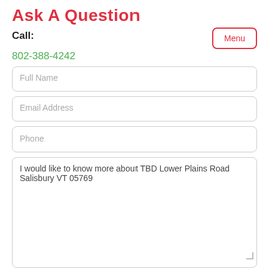Ask A Question
Call:
802-388-4242
Full Name
Email Address
Phone
I would like to know more about TBD Lower Plains Road Salisbury VT 05769
Send